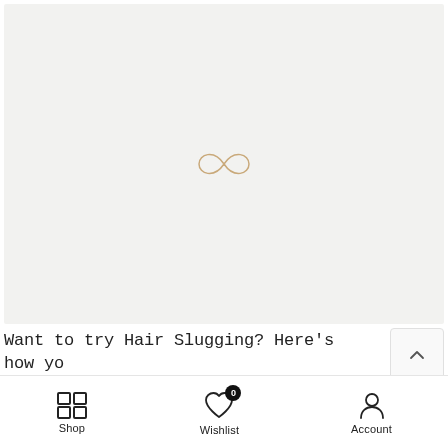[Figure (logo): Light grey placeholder image area with a decorative infinity/cursive S-loop logo mark in tan/gold color centered in the image area]
Want to try Hair Slugging? Here's how you do it - Tips and Tricks for shiny hair
[Figure (infographic): Bottom navigation bar with Shop (grid icon), Wishlist (heart icon with badge 0), and Account (person icon) items]